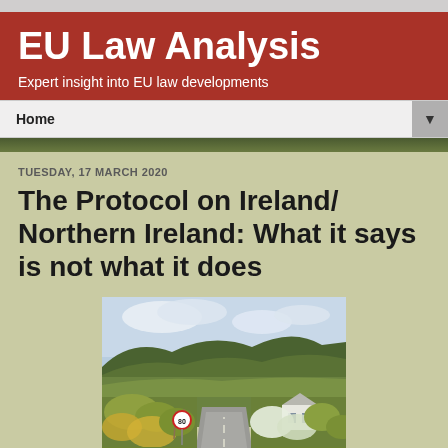EU Law Analysis
Expert insight into EU law developments
The Protocol on Ireland/ Northern Ireland: What it says is not what it does
TUESDAY, 17 MARCH 2020
[Figure (photo): A rural Irish road scene with a 80 km/h speed limit sign, green hedgerows and bushes on both sides, hills in the background, a white house visible on the right, and cloudy sky above.]